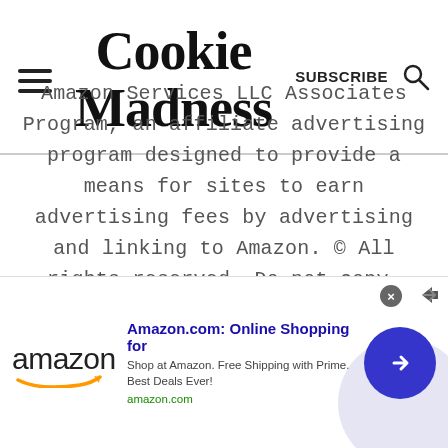Cookie Madness | SUBSCRIBE
Amazon Services LLC Associates Program, an affiliate advertising program designed to provide a means for sites to earn advertising fees by advertising and linking to Amazon. © All rights reserved. Do not copy, distribute, or reproduce without permission.
[Figure (infographic): Amazon advertisement banner with Amazon logo, headline 'Amazon.com: Online Shopping for', description 'Shop at Amazon. Free Shipping with Prime. Best Deals Ever!', url 'amazon.com', and a blue circle arrow button]